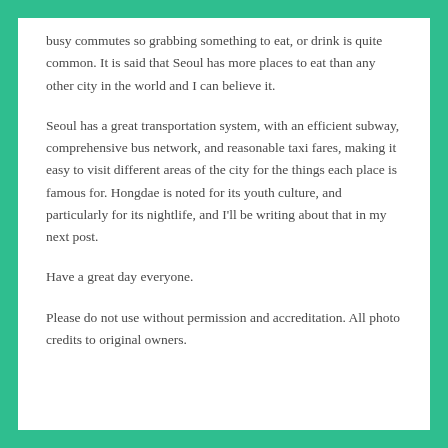busy commutes so grabbing something to eat, or drink is quite common. It is said that Seoul has more places to eat than any other city in the world and I can believe it.
Seoul has a great transportation system, with an efficient subway, comprehensive bus network, and reasonable taxi fares, making it easy to visit different areas of the city for the things each place is famous for. Hongdae is noted for its youth culture, and particularly for its nightlife, and I'll be writing about that in my next post.
Have a great day everyone.
Please do not use without permission and accreditation. All photo credits to original owners.